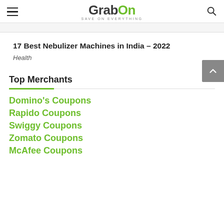GrabOn - Save on Everything
17 Best Nebulizer Machines in India – 2022
Health
Top Merchants
Domino's Coupons
Rapido Coupons
Swiggy Coupons
Zomato Coupons
McAfee Coupons